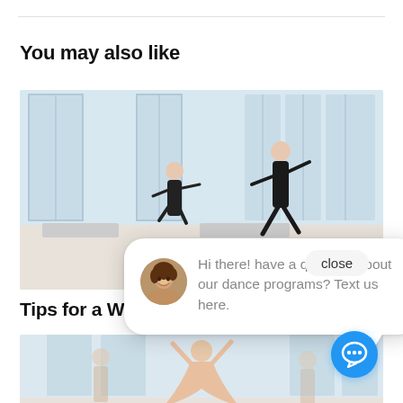You may also like
[Figure (photo): Two ballet dancers in black attire rehearsing in a bright studio with large windows]
Tips for a Wi
[Figure (screenshot): Chat widget overlay with avatar and message: Hi there! have a question about our dance programs? Text us here. With close button and blue chat icon.]
[Figure (photo): Ballet dancers in a bright studio, lower portion with a dancer in pink/beige attire]